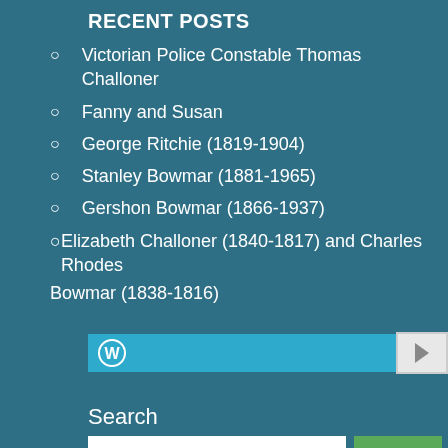RECENT POSTS
Victorian Police Constable Thomas Challoner
Fanny and Susan
George Ritchie (1819-1904)
Stanley Bowmar (1881-1965)
Gershon Bowmar (1866-1937)
Elizabeth Challoner (1840-1817) and Charles Rhodes Bowmar (1838-1816)
[Figure (other): WordPress search widget with blue input field and arrow button]
Search
[Figure (other): Search input box with green Search button]